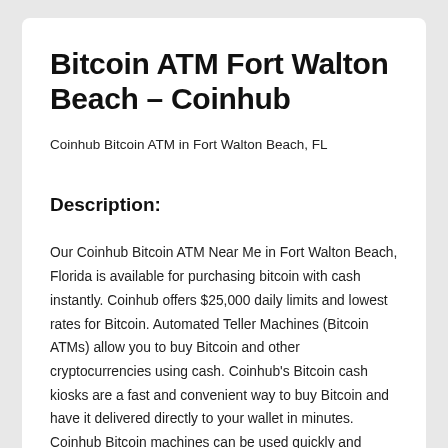Bitcoin ATM Fort Walton Beach – Coinhub
Coinhub Bitcoin ATM in Fort Walton Beach, FL
Description:
Our Coinhub Bitcoin ATM Near Me in Fort Walton Beach, Florida is available for purchasing bitcoin with cash instantly. Coinhub offers $25,000 daily limits and lowest rates for Bitcoin. Automated Teller Machines (Bitcoin ATMs) allow you to buy Bitcoin and other cryptocurrencies using cash. Coinhub's Bitcoin cash kiosks are a fast and convenient way to buy Bitcoin and have it delivered directly to your wallet in minutes. Coinhub Bitcoin machines can be used quickly and